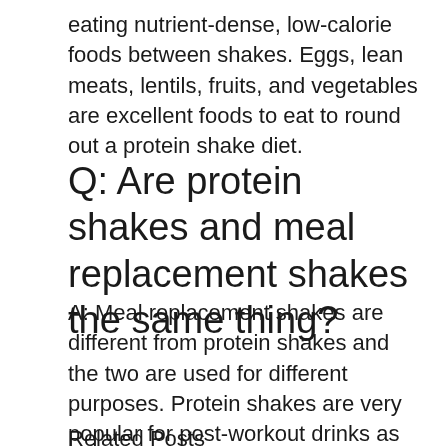eating nutrient-dense, low-calorie foods between shakes. Eggs, lean meats, lentils, fruits, and vegetables are excellent foods to eat to round out a protein shake diet.
Q: Are protein shakes and meal replacement shakes the same thing?
A: Meal replacement shakes are different from protein shakes and the two are used for different purposes. Protein shakes are very popular for post-workout drinks as you are trying to replace protein that your body needs to grow and repair muscle tissue.
Related Posts